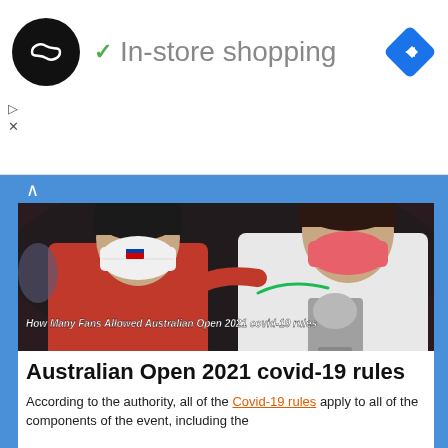[Figure (screenshot): Ad banner showing a logo (black circle with infinity-like symbol), green checkmark, 'In-store shopping' text in grey, and a blue diamond navigation icon on the right]
[Figure (photo): Two tennis players wearing face masks — one in red (white mask) and one in white (pink/red mask) — standing together. Text overlay reads: 'How Many Fans Allowed Australian Open 2021 covid-19 rules']
Australian Open 2021 covid-19 rules
According to the authority, all of the Covid-19 rules apply to all of the components of the event, including the players